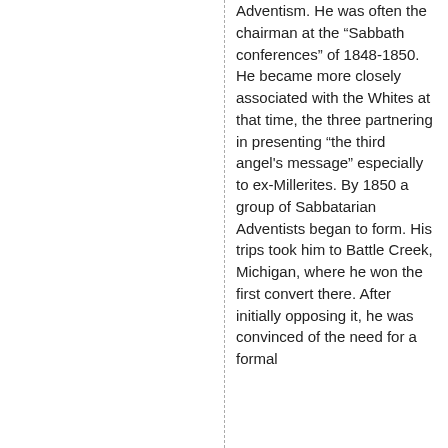Adventism. He was often the chairman at the “Sabbath conferences” of 1848-1850. He became more closely associated with the Whites at that time, the three partnering in presenting “the third angel's message” especially to ex-Millerites. By 1850 a group of Sabbatarian Adventists began to form. His trips took him to Battle Creek, Michigan, where he won the first convert there. After initially opposing it, he was convinced of the need for a formal